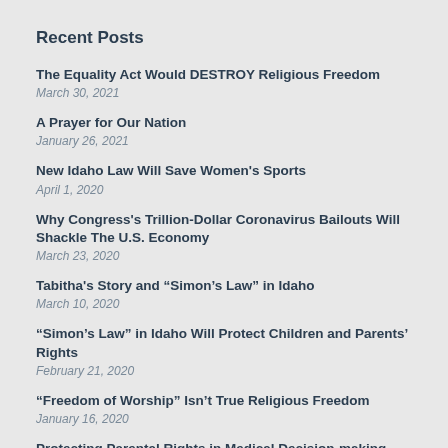Recent Posts
The Equality Act Would DESTROY Religious Freedom
March 30, 2021
A Prayer for Our Nation
January 26, 2021
New Idaho Law Will Save Women's Sports
April 1, 2020
Why Congress's Trillion-Dollar Coronavirus Bailouts Will Shackle The U.S. Economy
March 23, 2020
Tabitha's Story and “Simon’s Law” in Idaho
March 10, 2020
“Simon’s Law” in Idaho Will Protect Children and Parents’ Rights
February 21, 2020
“Freedom of Worship” Isn’t True Religious Freedom
January 16, 2020
Protecting Parental Rights in Medical Decision-making
January 15, 2020